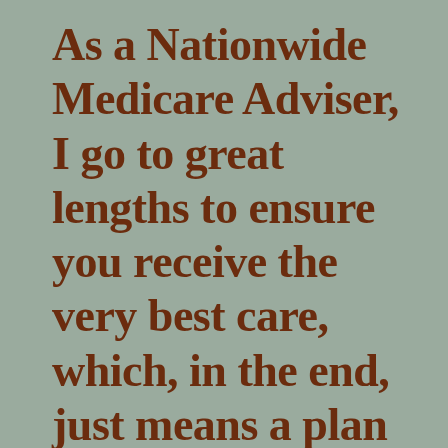As a Nationwide Medicare Adviser, I go to great lengths to ensure you receive the very best care, which, in the end, just means a plan that fits your needs